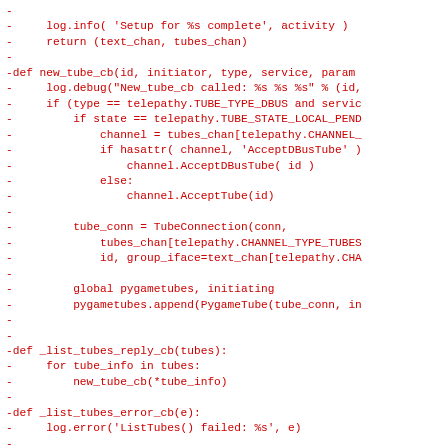Code diff showing removed lines in red (Python source code with telepathy/tube connection handling)